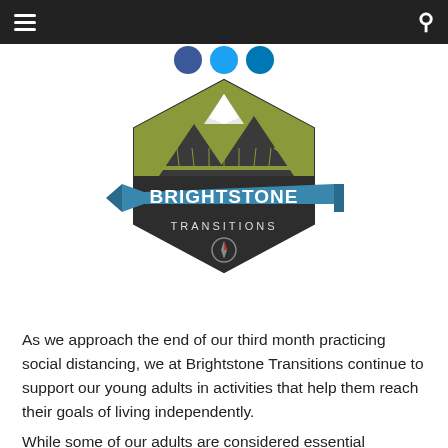Navigation bar with hamburger menu and search icon
[Figure (logo): Brightstone Transitions logo: hexagonal badge with dark background, olive/yellow-green mountain scene with a suspension bridge, blue ribbon banner reading BRIGHTSTONE in white bold letters, TRANSITIONS in white below, and a compass icon at the bottom]
As we approach the end of our third month practicing social distancing, we at Brightstone Transitions continue to support our young adults in activities that help them reach their goals of living independently.
While some of our adults are considered essential